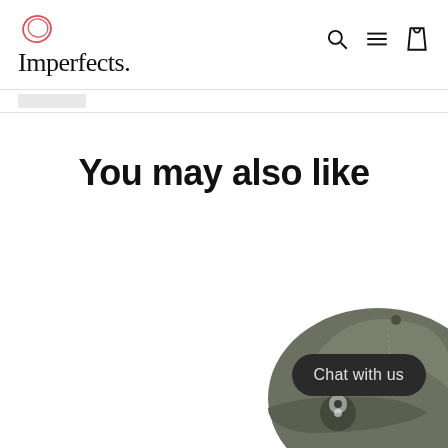Imperfects. [navigation icons: search, menu, cart]
You may also like
[Figure (photo): Partial view of a dark grey/olive baseball cap with a yin-yang embroidery visible on the side, cropped in the bottom-right corner of the page.]
Chat with us